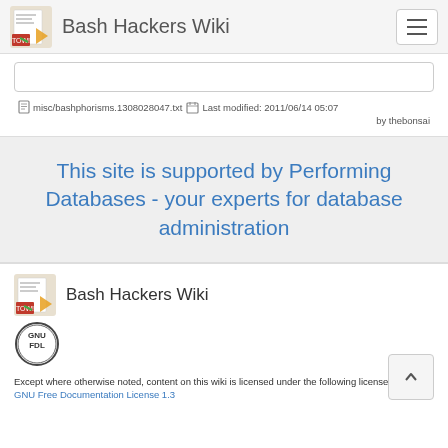Bash Hackers Wiki
misc/bashphorisms.1308028047.txt   Last modified: 2011/06/14 05:07 by thebonsai
This site is supported by Performing Databases - your experts for database administration
[Figure (logo): Bash Hackers Wiki logo with text 'Bash Hackers Wiki']
[Figure (logo): GNU FDL license badge]
Except where otherwise noted, content on this wiki is licensed under the following license:
GNU Free Documentation License 1.3